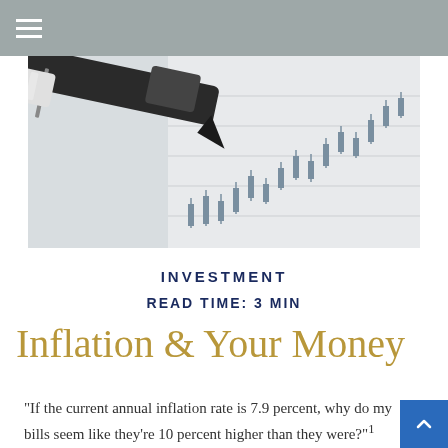☰
[Figure (photo): Close-up photo of a pen resting on a financial chart with candlestick/bar chart patterns visible on paper]
INVESTMENT
READ TIME: 3 MIN
Inflation & Your Money
"If the current annual inflation rate is 7.9 percent, why do my bills seem like they're 10 percent higher than they were?"